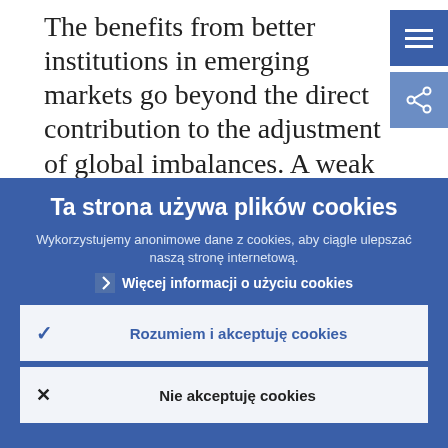The benefits from better institutions in emerging markets go beyond the direct contribution to the adjustment of global imbalances. A weak institutional
Ta strona używa plików cookies
Wykorzystujemy anonimowe dane z cookies, aby ciągle ulepszać naszą stronę internetową.
› Więcej informacji o użyciu cookies
✓  Rozumiem i akceptuję cookies
✕  Nie akceptuję cookies